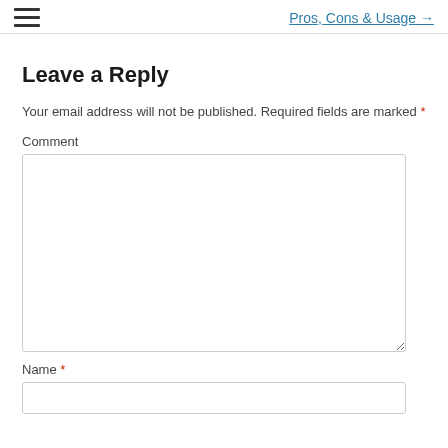Pros, Cons & Usage →
Leave a Reply
Your email address will not be published. Required fields are marked *
Comment
Name *